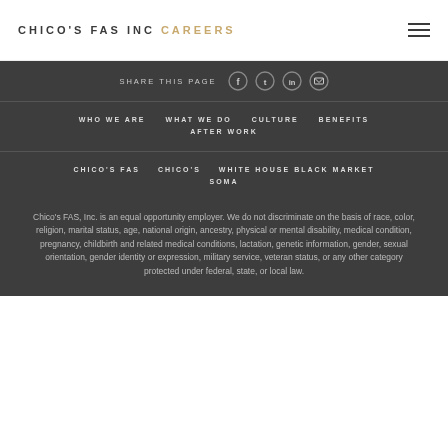CHICO'S FAS INC CAREERS
SHARE THIS PAGE
WHO WE ARE
WHAT WE DO
CULTURE
BENEFITS
AFTER WORK
CHICO'S FAS
CHICO'S
WHITE HOUSE BLACK MARKET
SOMA
Chico's FAS, Inc. is an equal opportunity employer. We do not discriminate on the basis of race, color, religion, marital status, age, national origin, ancestry, physical or mental disability, medical condition, pregnancy, childbirth and related medical conditions, lactation, genetic information, gender, sexual orientation, gender identity or expression, military service, veteran status, or any other category protected under federal, state, or local law.